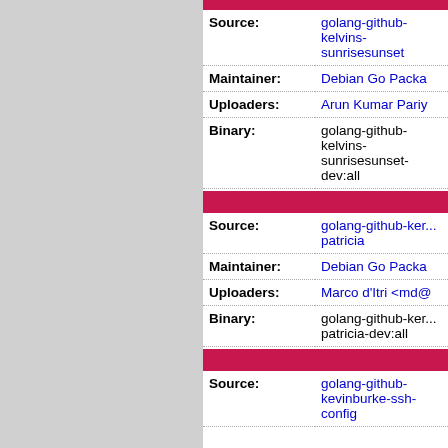| Field | Value |
| --- | --- |
| Source: | golang-github-kelvins-sunrisesunset |
| Maintainer: | Debian Go Packa... |
| Uploaders: | Arun Kumar Pariy... |
| Binary: | golang-github-kelvins-sunrisesunset-dev:all |
| Field | Value |
| --- | --- |
| Source: | golang-github-ken... patricia |
| Maintainer: | Debian Go Packa... |
| Uploaders: | Marco d'Itri <md@... |
| Binary: | golang-github-ken... patricia-dev:all |
| Field | Value |
| --- | --- |
| Source: | golang-github-kevinburke-ssh-config |